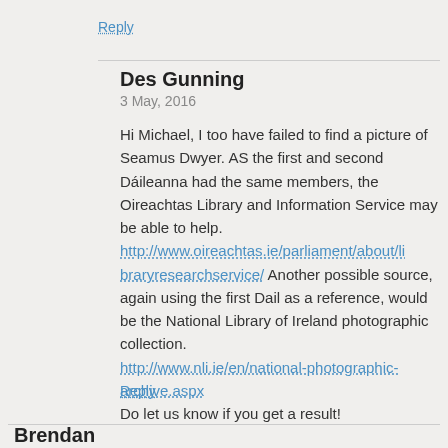Reply
Des Gunning
3 May, 2016
Hi Michael, I too have failed to find a picture of Seamus Dwyer. AS the first and second Dáileanna had the same members, the Oireachtas Library and Information Service may be able to help. http://www.oireachtas.ie/parliament/about/libraryresearchservice/ Another possible source, again using the first Dail as a reference, would be the National Library of Ireland photographic collection. http://www.nli.ie/en/national-photographic-archive.aspx Do let us know if you get a result!
Reply
Brendan